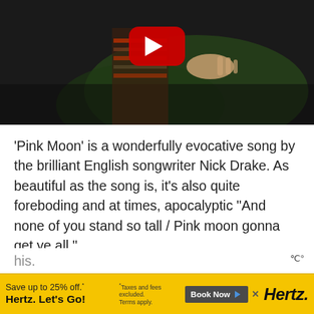[Figure (photo): YouTube video thumbnail showing a person in colorful striped clothing holding out their hand, with green foliage in the background and a YouTube play button overlay in the center]
'Pink Moon' is a wonderfully evocative song by the brilliant English songwriter Nick Drake. As beautiful as the song is, it's also quite foreboding and at times, apocalyptic “And none of you stand so tall / Pink moon gonna get ye all.”
Nick Drake was known as “the great
[Figure (screenshot): Advertisement banner: Save up to 25% off.* Hertz. Let's Go! with Book Now button and Hertz logo on yellow background]